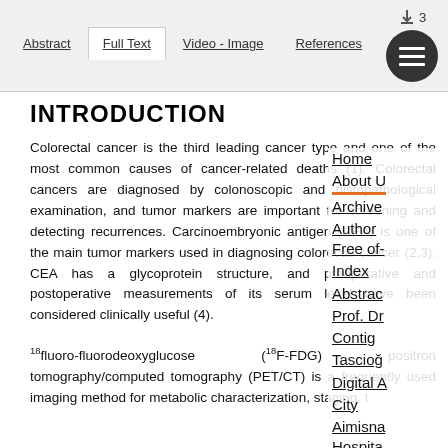Abstract | Full Text | Video - Image | References | 3
INTRODUCTION
Colorectal cancer is the third leading cancer type and one of the most common causes of cancer-related deaths (1). Colorectal cancers are diagnosed by colonoscopic and histopathological examination, and tumor markers are important for screening and detecting recurrences. Carcinoembryonic antigen (CEA) is one of the main tumor markers used in diagnosing colorectal cancer (2,3). CEA has a glycoprotein structure, and preoperative and postoperative measurements of its serum level have been considered clinically useful (4).
18fluoro-fluorodeoxyglucose (18F-FDG) positron emission tomography/computed tomography (PET/CT) is a frequently used imaging method for metabolic characterization, staging, t...